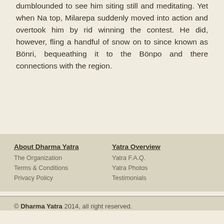dumblounded to see him siting still and meditating. Yet when Na top, Milarepa suddenly moved into action and overtook him by rid winning the contest. He did, however, fling a handful of snow on t since known as Bönri, bequeathing it to the Bönpo and there connections with the region.
About Dharma Yatra | The Organization | Terms & Conditions | Privacy Policy | Yatra Overview | Yatra F.A.Q. | Yatra Photos | Testimonials
© Dharma Yatra 2014, all right reserved.